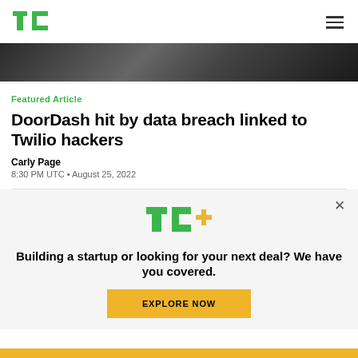TechCrunch logo and navigation
[Figure (photo): Partial hero image, dark background with figure]
Featured Article
DoorDash hit by data breach linked to Twilio hackers
Carly Page
8:30 PM UTC • August 25, 2022
[Figure (logo): TC+ logo with green TC and yellow plus sign]
Building a startup or looking for your next deal? We have you covered.
EXPLORE NOW